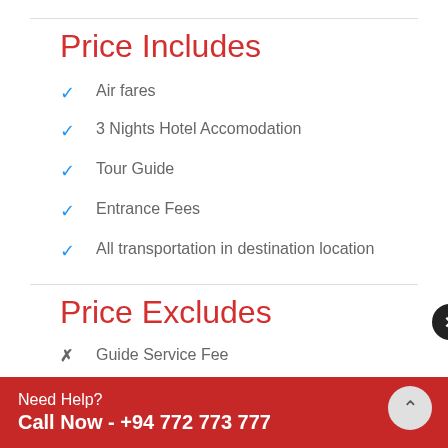Price Includes
Air fares
3 Nights Hotel Accomodation
Tour Guide
Entrance Fees
All transportation in destination location
Price Excludes
Guide Service Fee
Driver Service Fee
Need Help?
Call Now - +94 772 773 777